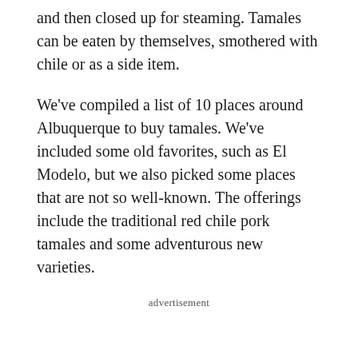and then closed up for steaming. Tamales can be eaten by themselves, smothered with chile or as a side item.
We've compiled a list of 10 places around Albuquerque to buy tamales. We've included some old favorites, such as El Modelo, but we also picked some places that are not so well-known. The offerings include the traditional red chile pork tamales and some adventurous new varieties.
advertisement